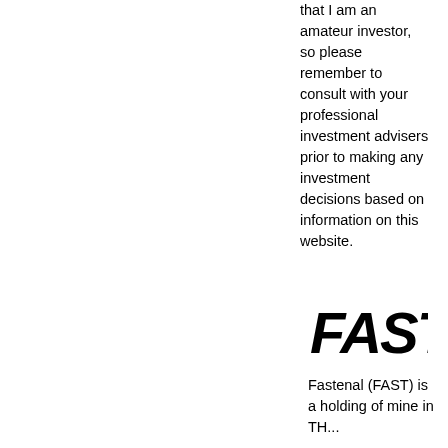that I am an amateur investor, so please remember to consult with your professional investment advisers prior to making any investment decisions based on information on this website.
[Figure (logo): Fastenal company logo showing 'FAST' in bold black italic text]
Fastenal (FAST) is a holding of mine in TH...